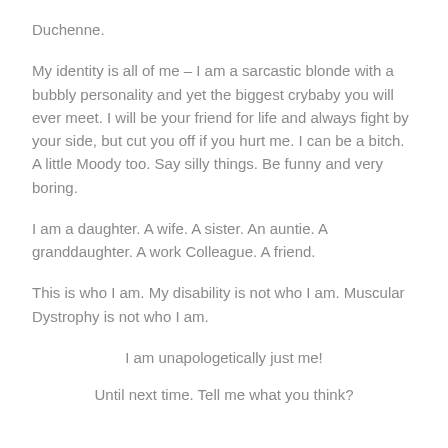Duchenne.
My identity is all of me – I am a sarcastic blonde with a bubbly personality and yet the biggest crybaby you will ever meet. I will be your friend for life and always fight by your side, but cut you off if you hurt me. I can be a bitch. A little Moody too. Say silly things. Be funny and very boring.
I am a daughter. A wife. A sister. An auntie. A granddaughter. A work Colleague. A friend.
This is who I am. My disability is not who I am. Muscular Dystrophy is not who I am.
I am unapologetically just me!
Until next time. Tell me what you think?